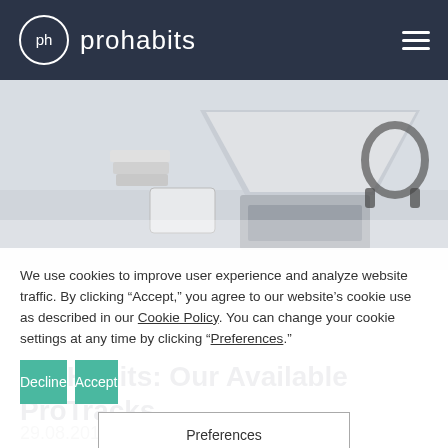[Figure (logo): Prohabits logo with circular 'ph' emblem and text 'prohabits' on dark navy header bar]
[Figure (photo): Hero image of a laptop open on a desk with books, tablet, headphones in a bright minimalist office setting]
We use cookies to improve user experience and analyze website traffic. By clicking “Accept,” you agree to our website’s cookie use as described in our Cookie Policy. You can change your cookie settings at any time by clicking “Preferences.”
Decline
Accept
Preferences
ProHabits: Our Available ProTracks
29.08.2017